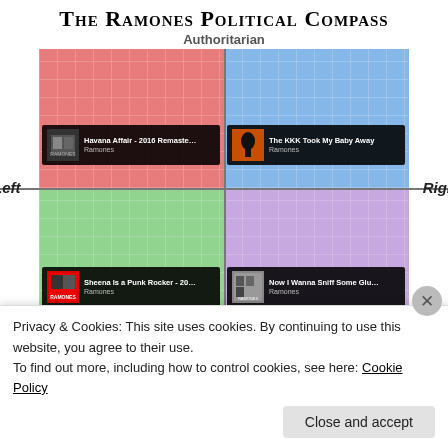The Ramones Political Compass
[Figure (infographic): A political compass divided into four quadrants: top-left (red, Authoritarian Left) contains 'Havana Affair - 2016 Remaster by Ramones'; top-right (blue, Authoritarian Right) contains 'The KKK Took My Baby Away by Ramones'; bottom-left (green, Libertarian Left) contains 'Sheena Is a Punk Rocker - 20... by Ramones'; bottom-right (purple, Libertarian Right) contains 'Now I Wanna Sniff Some Glu... by Ramones'. Axes labeled Left, Right, Authoritarian (implied top).]
Privacy & Cookies: This site uses cookies. By continuing to use this website, you agree to their use.
To find out more, including how to control cookies, see here: Cookie Policy
Close and accept